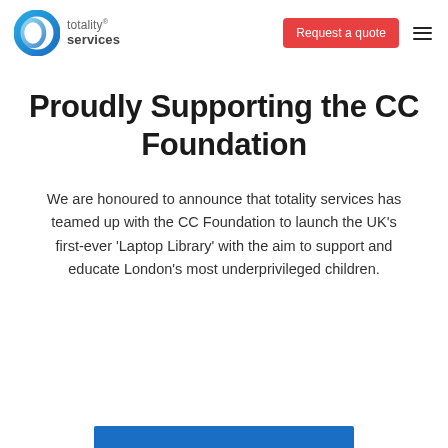[Figure (logo): Totality Services logo: blue circular ring icon on the left, text 'totality® services' on the right]
Request a quote
Proudly Supporting the CC Foundation
We are honoured to announce that totality services has teamed up with the CC Foundation to launch the UK's first-ever 'Laptop Library' with the aim to support and educate London's most underprivileged children.